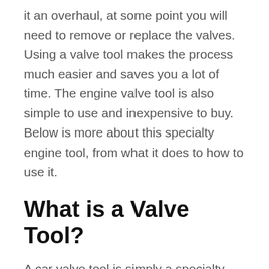it an overhaul, at some point you will need to remove or replace the valves. Using a valve tool makes the process much easier and saves you a lot of time. The engine valve tool is also simple to use and inexpensive to buy. Below is more about this specialty engine tool, from what it does to how to use it.
What is a Valve Tool?
A car valve tool is simply a specialty tool to help you safely and easily remove engine valves by compressing the spring. So it's correctly called a valve spring compression tool. The tool is mostly used when rebuilding the engine, but can also